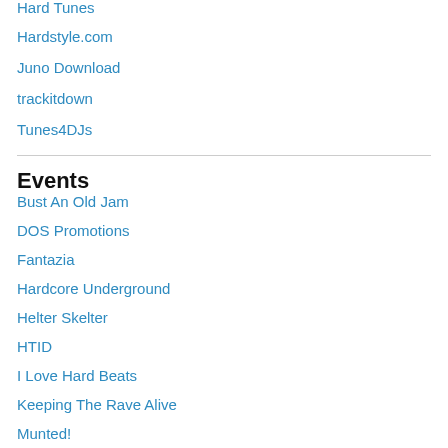Hard Tunes
Hardstyle.com
Juno Download
trackitdown
Tunes4DJs
Events
Bust An Old Jam
DOS Promotions
Fantazia
Hardcore Underground
Helter Skelter
HTID
I Love Hard Beats
Keeping The Rave Alive
Munted!
Rave Directory
Rave Guide